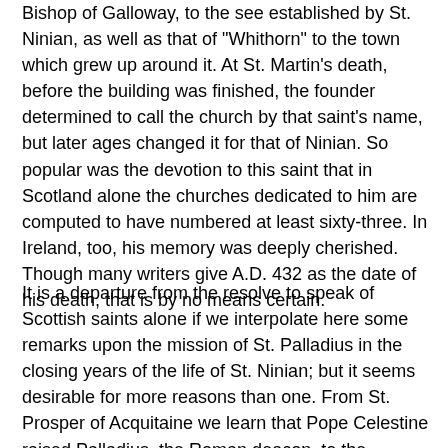Bishop of Galloway, to the see established by St. Ninian, as well as that of "Whithorn" to the town which grew up around it. At St. Martin's death, before the building was finished, the founder determined to call the church by that saint's name, but later ages changed it for that of Ninian. So popular was the devotion to this saint that in Scotland alone the churches dedicated to him are computed to have numbered at least sixty-three. In Ireland, too, his memory was deeply cherished. Though many writers give A.D. 432 as the date of his death, that is by no means certain.
It is a departure from the resolve to speak of Scottish saints alone if we interpolate here some remarks upon the mission of St. Palladius in the closing years of the life of St. Ninian; but it seems desirable for more reasons than one. From St. Prosper of Acquitaine we learn that Pope Celestine raised Palladius, the Roman deacon, to the episcopate about the year 431, and sent him as Bishop to the Christian Scots. At that date, Ireland was known as Scotia, and a well-founded tradition tells of St. Ninian having assisted Palladius in his missionary efforts in Ireland in the founding of a church and monastery there by the great Scottish Bishop. From many Irish records it is clear that Palladius visited that country